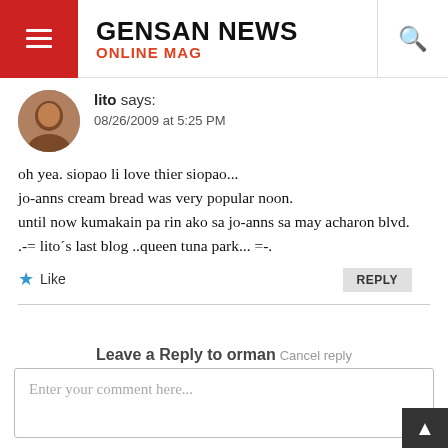GENSAN NEWS ONLINE MAG
lito says:
08/26/2009 at 5:25 PM
oh yea. siopao li love thier siopao...
jo-anns cream bread was very popular noon.
until now kumakain pa rin ako sa jo-anns sa may acharon blvd.
.-= lito´s last blog ..queen tuna park... =-.
Like   REPLY
Leave a Reply to orman  Cancel reply
Enter your comment here...